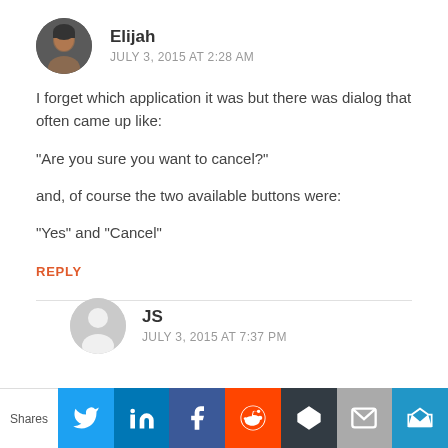[Figure (photo): Circular avatar photo of Elijah, dark background]
Elijah
JULY 3, 2015 AT 2:28 AM
I forget which application it was but there was dialog that often came up like:
“Are you sure you want to cancel?”
and, of course the two available buttons were:
“Yes” and “Cancel”
REPLY
[Figure (illustration): Circular grey avatar placeholder for JS]
JS
JULY 3, 2015 AT 7:37 PM
[Figure (infographic): Social share bar with icons: Twitter, LinkedIn, Facebook, Reddit, Buffer, Email, Crown]